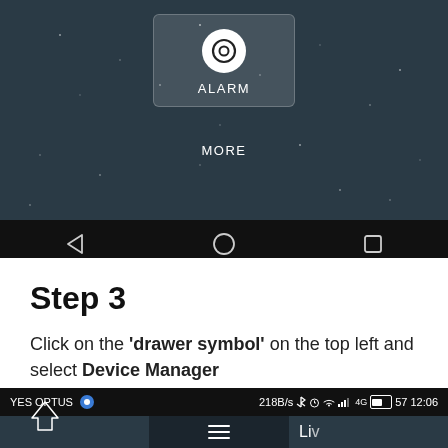[Figure (screenshot): Android phone screenshot showing an app menu with an ALARM icon in a rounded rectangle and MORE text below, with navigation bar at bottom showing back, home, and recent app buttons]
Step 3
Click on the 'drawer symbol' on the top left and select Device Manager
[Figure (screenshot): Android phone status bar showing YES OPTUS carrier, 218B/s, Bluetooth, alarm, WiFi, signal, battery 57%, time 12:06. Below shows a dark screen with a hamburger menu icon and partial text 'Liv' and 'Home' label at bottom left]